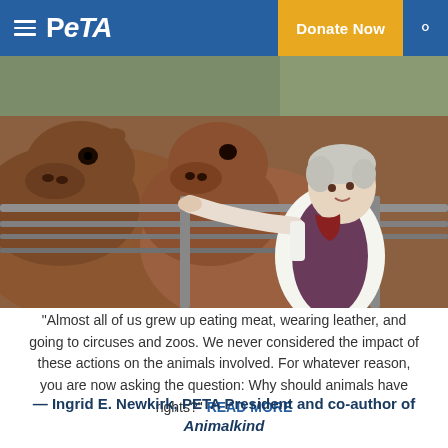PETA – Donate Now
[Figure (photo): A woman with short grey hair wearing a white shirt and patterned vest feeding or petting brown cows through a metal fence rail at what appears to be a farm or sanctuary.]
“Almost all of us grew up eating meat, wearing leather, and going to circuses and zoos. We never considered the impact of these actions on the animals involved. For whatever reason, you are now asking the question: Why should animals have rights?” READ MORE
— Ingrid E. Newkirk, PETA President and co-author of Animalkind